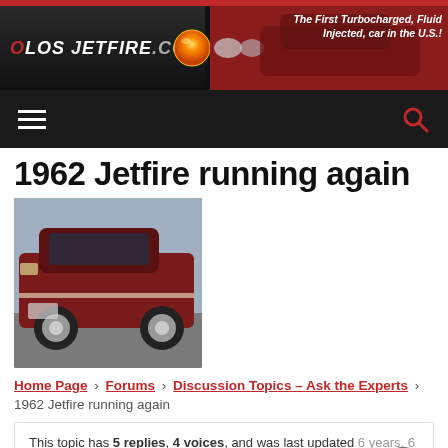[Figure (screenshot): OlosJetfire.com website header banner with logo, glowing orb graphic, red classic car photo, and tagline 'The First Turbocharged, Fluid Injected, car in the U.S.!']
[Figure (screenshot): Dark navigation bar with hamburger menu icon on left and red search (magnifying glass) icon on right]
1962 Jetfire running again
[Figure (photo): Photo of a dark red 1962 Oldsmobile Jetfire classic car, low angle shot showing the front and side, outdoor setting]
Home Page › Forums › Discussion Topics – Ask the Experts › 1962 Jetfire running again
This topic has 5 replies, 4 voices, and was last updated 6 years, 6 months ago by young_olds.